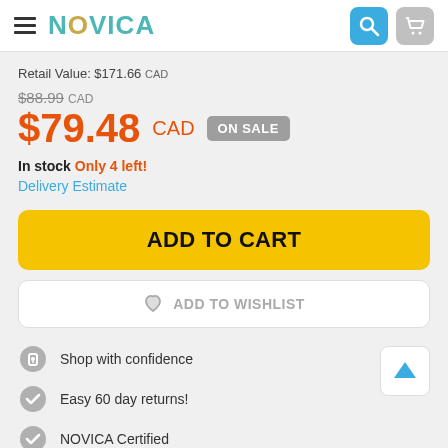NOVICA
Retail Value: $171.66 CAD
$88.99 CAD
$79.48 CAD ON SALE
In stock Only 4 left!
Delivery Estimate
ADD TO CART
ADD TO WISHLIST
Shop with confidence
Easy 60 day returns!
NOVICA Certified